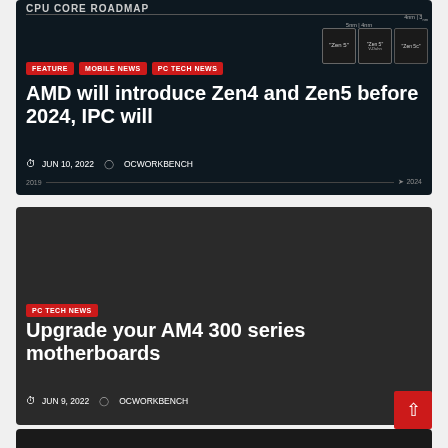[Figure (screenshot): AMD CPU Core Roadmap image with dark background showing processor generations from 2019 to 2024]
FEATURE
MOBILE NEWS
PC TECH NEWS
AMD will introduce Zen4 and Zen5 before 2024, IPC will
JUN 10, 2022   OCWORKBENCH
[Figure (screenshot): Dark gray background card for Upgrade your AM4 300 series motherboards article]
PC TECH NEWS
Upgrade your AM4 300 series motherboards
JUN 9, 2022   OCWORKBENCH